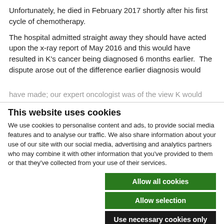Unfortunately, he died in February 2017 shortly after his first cycle of chemotherapy.
The hospital admitted straight away they should have acted upon the x-ray report of May 2016 and this would have resulted in K's cancer being diagnosed 6 months earlier.  The dispute arose out of the difference earlier diagnosis would have made; our expert oncologist was of the view K would
This website uses cookies
We use cookies to personalise content and ads, to provide social media features and to analyse our traffic. We also share information about your use of our site with our social media, advertising and analytics partners who may combine it with other information that you've provided to them or that they've collected from your use of their services.